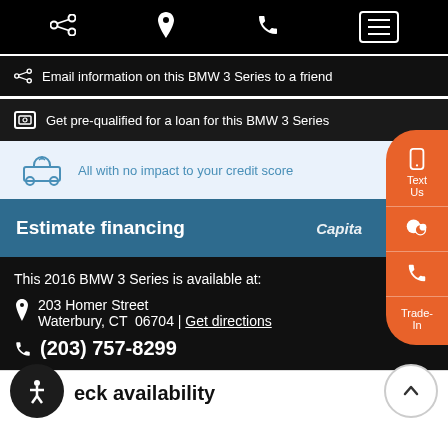Navigation bar with share, location, phone, and menu icons
Email information on this BMW 3 Series to a friend
Get pre-qualified for a loan for this BMW 3 Series
All with no impact to your credit score
Estimate financing
This 2016 BMW 3 Series is available at:
203 Homer Street
Waterbury, CT  06704 | Get directions
(203) 757-8299
eck availability